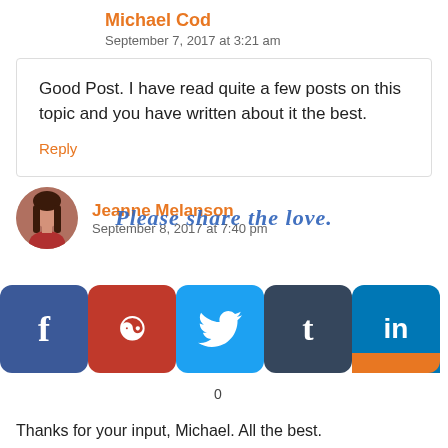Michael Cod
September 7, 2017 at 3:21 am
Good Post. I have read quite a few posts on this topic and you have written about it the best.
Reply
[Figure (photo): Avatar photo of Jeanne Melanson, a woman with long brown hair]
Jeanne Melanson
September 8, 2017 at 7:40 pm
Please share the love.
[Figure (infographic): Social sharing buttons: Facebook, Pinterest, Twitter, Tumblr, LinkedIn]
Thanks for your input, Michael. All the best.
0